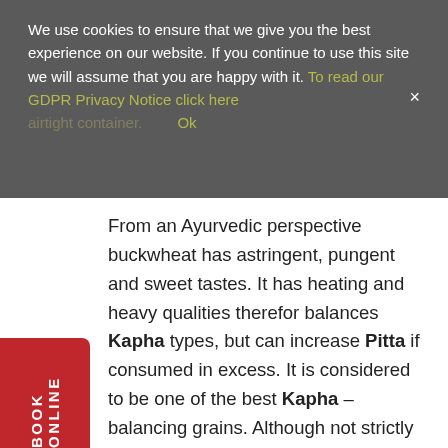We use cookies to ensure that we give you the best experience on our website. If you continue to use this site we will assume that you are happy with it. To read our GDPR Privacy Notice click here × airtight container. Ok
From an Ayurvedic perspective buckwheat has astringent, pungent and sweet tastes. It has heating and heavy qualities therefor balances Kapha types, but can increase Pitta if consumed in excess. It is considered to be one of the best Kapha – balancing grains. Although not strictly a grain, it's a seed, it is cooked and eaten as a grain.

Due to the dry nature of this granola it may aggravate Vata's already dry qualities if